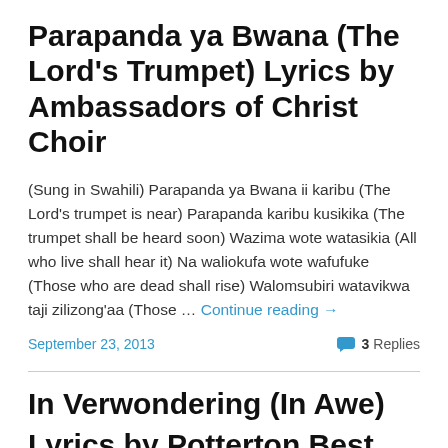Parapanda ya Bwana (The Lord's Trumpet) Lyrics by Ambassadors of Christ Choir
(Sung in Swahili) Parapanda ya Bwana ii karibu (The Lord's trumpet is near) Parapanda karibu kusikika (The trumpet shall be heard soon) Wazima wote watasikia (All who live shall hear it) Na waliokufa wote wafufuke (Those who are dead shall rise) Walomsubiri watavikwa taji zilizong'aa (Those … Continue reading →
September 23, 2013    💬 3 Replies
In Verwondering (In Awe) Lyrics by Potterton Best for...